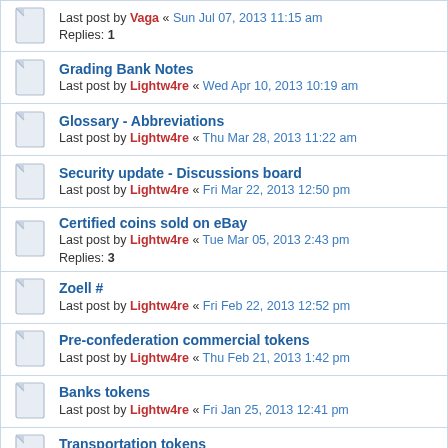Last post by Vaga « Sun Jul 07, 2013 11:15 am
Replies: 1
Grading Bank Notes
Last post by Lightw4re « Wed Apr 10, 2013 10:19 am
Glossary - Abbreviations
Last post by Lightw4re « Thu Mar 28, 2013 11:22 am
Security update - Discussions board
Last post by Lightw4re « Fri Mar 22, 2013 12:50 pm
Certified coins sold on eBay
Last post by Lightw4re « Tue Mar 05, 2013 2:43 pm
Replies: 3
Zoell #
Last post by Lightw4re « Fri Feb 22, 2013 12:52 pm
Pre-confederation commercial tokens
Last post by Lightw4re « Thu Feb 21, 2013 1:42 pm
Banks tokens
Last post by Lightw4re « Fri Jan 25, 2013 12:41 pm
Transportation tokens
Last post by Lightw4re « Thu Jan 17, 2013 12:47 am
Calendar of Events
Last post by Lightw4re « Thu Jan 10, 2013 4:10 pm
Replies: 1